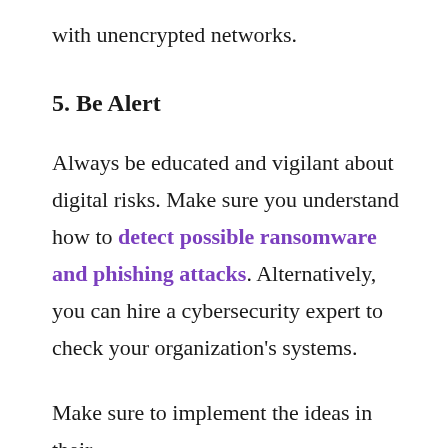with unencrypted networks.
5. Be Alert
Always be educated and vigilant about digital risks. Make sure you understand how to detect possible ransomware and phishing attacks. Alternatively, you can hire a cybersecurity expert to check your organization's systems.
Make sure to implement the ideas in their